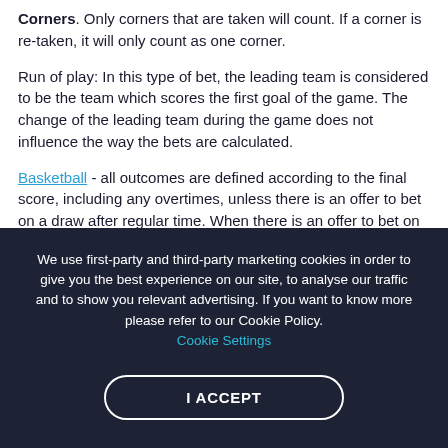Corners. Only corners that are taken will count. If a corner is re-taken, it will only count as one corner.
Run of play: In this type of bet, the leading team is considered to be the team which scores the first goal of the game. The change of the leading team during the game does not influence the way the bets are calculated.
Basketball - all outcomes are defined according to the final score, including any overtimes, unless there is an offer to bet on a draw after regular time. When there is an offer to bet on a draw after regular time, the main outcomes (1, X, 2, 1X, 2X, 12) in such match are defined by the regular time (without overtimes).
We use first-party and third-party marketing cookies in order to give you the best experience on our site, to analyse our traffic and to show you relevant advertising. If you want to know more please refer to our Cookie Policy. Cookie Settings
I ACCEPT